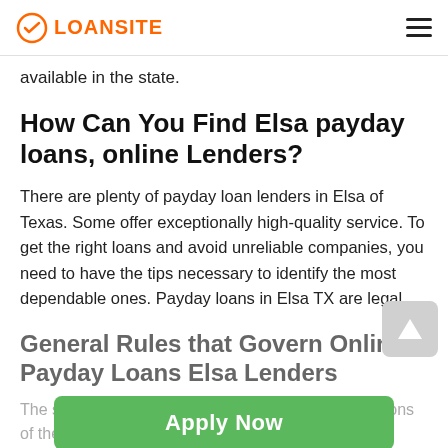LOANSITE
available in the state.
How Can You Find Elsa payday loans, online Lenders?
There are plenty of payday loan lenders in Elsa of Texas. Some offer exceptionally high-quality service. To get the right loans and avoid unreliable companies, you need to have the tips necessary to identify the most dependable ones. Payday loans in Elsa TX are legal.
General Rules that Govern Online Payday Loans Elsa Lenders
The state has enacted laws that regulate the operations of the lenders. When you work with a lender who complies with these requirements, you can be assured nothing will
Apply Now
Applying does NOT affect your credit score!
No credit check to apply.